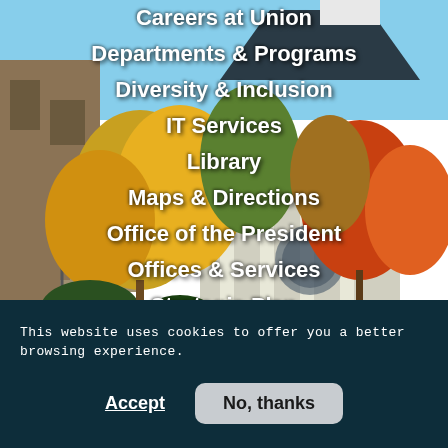[Figure (photo): Campus photo showing autumn trees with red, orange, and yellow foliage, a brick building with columns on the right, stairs and stone building on the left, green lawn in foreground.]
Careers at Union
Departments & Programs
Diversity & Inclusion
IT Services
Library
Maps & Directions
Office of the President
Offices & Services
Strategic Plan
Title IX
This website uses cookies to offer you a better browsing experience.
Accept
No, thanks